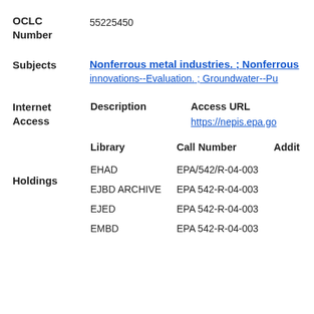OCLC Number: 55225450
Subjects: Nonferrous metal industries. ; Nonferrous innovations--Evaluation. ; Groundwater--Pu...
| Description | Access URL |
| --- | --- |
|  | https://nepis.epa.go... |
| Library | Call Number | Addit... |
| --- | --- | --- |
| EHAD | EPA/542/R-04-003 |  |
| EJBD ARCHIVE | EPA 542-R-04-003 |  |
| EJED | EPA 542-R-04-003 |  |
| EMBD | EPA 542-R-04-003 |  |